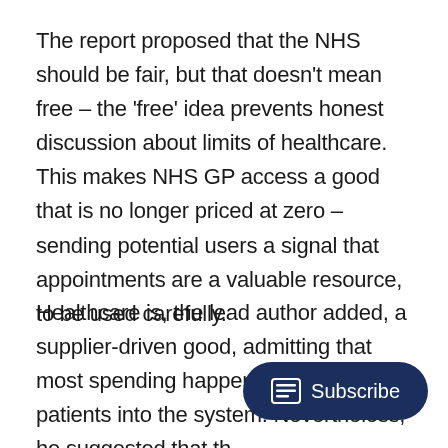The report proposed that the NHS should be fair, but that doesn't mean free – the 'free' idea prevents honest discussion about limits of healthcare. This makes NHS GP access a good that is no longer priced at zero – sending potential users a signal that appointments are a valuable resource, to be used carefully.
Healthcare is, the lead author added, a supplier-driven good, admitting that most spending happens after GPs refer patients into the system. Nevertheless, he suggested that th (over-)reaction to the proposal s something is wrong in public debate on healthy